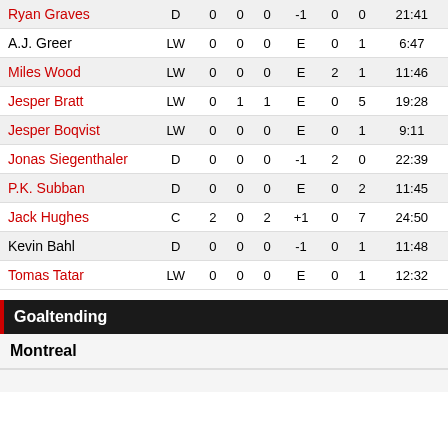| Player | Pos | G | A | P | +/- | PIM | SOG | TOI |
| --- | --- | --- | --- | --- | --- | --- | --- | --- |
| Ryan Graves | D | 0 | 0 | 0 | -1 | 0 | 0 | 21:41 |
| A.J. Greer | LW | 0 | 0 | 0 | E | 0 | 1 | 6:47 |
| Miles Wood | LW | 0 | 0 | 0 | E | 2 | 1 | 11:46 |
| Jesper Bratt | LW | 0 | 1 | 1 | E | 0 | 5 | 19:28 |
| Jesper Boqvist | LW | 0 | 0 | 0 | E | 0 | 1 | 9:11 |
| Jonas Siegenthaler | D | 0 | 0 | 0 | -1 | 2 | 0 | 22:39 |
| P.K. Subban | D | 0 | 0 | 0 | E | 0 | 2 | 11:45 |
| Jack Hughes | C | 2 | 0 | 2 | +1 | 0 | 7 | 24:50 |
| Kevin Bahl | D | 0 | 0 | 0 | -1 | 0 | 1 | 11:48 |
| Tomas Tatar | LW | 0 | 0 | 0 | E | 0 | 1 | 12:32 |
Goaltending
Montreal